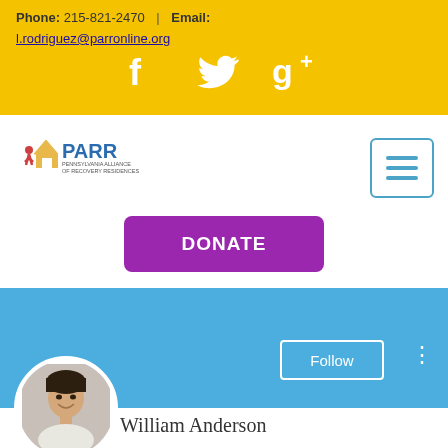Phone: 215-821-2470 | Email: l.rodriguez@parronline.org
[Figure (infographic): Social media icons: Facebook, Twitter, Google+ in white on yellow background]
[Figure (logo): PARR - Pennsylvania Alliance of Recovery Residences logo]
[Figure (infographic): Hamburger menu button with three horizontal lines in blue]
[Figure (infographic): DONATE button in purple/magenta]
[Figure (photo): Profile photo of a young Asian male smiling, circular crop]
[Figure (infographic): Follow button on blue banner with three-dot menu icon]
William Anderson